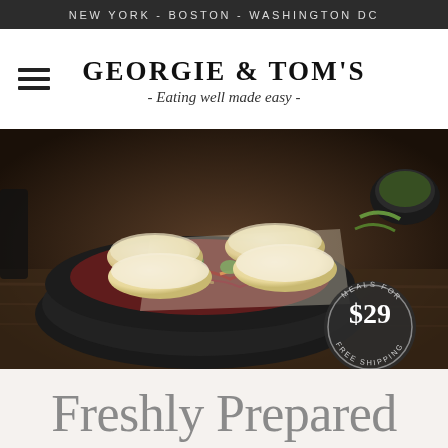NEW YORK - BOSTON - WASHINGTON DC
GEORGIE & TOM'S - Eating well made easy -
[Figure (photo): A dark bowl filled with steamed bao buns topped with colorful Asian slaw, herbs, carrots, and red cabbage on a wooden surface. A circular badge reads: MEALS FOR TWO $29 FREE SHIPPING]
Freshly Prepared